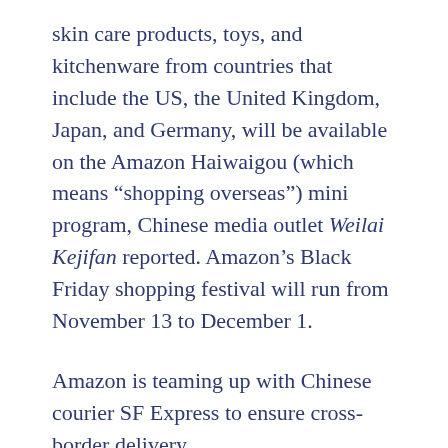skin care products, toys, and kitchenware from countries that include the US, the United Kingdom, Japan, and Germany, will be available on the Amazon Haiwaigou (which means “shopping overseas”) mini program, Chinese media outlet Weilai Kejifan reported. Amazon’s Black Friday shopping festival will run from November 13 to December 1.
Amazon is teaming up with Chinese courier SF Express to ensure cross-border delivery.